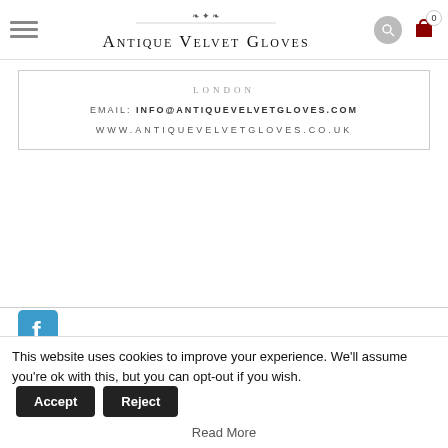Antique Velvet Gloves - navigation bar with hamburger menu, logo, search and cart icons
LONDON
EMAIL: INFO@ANTIQUEVELVETGLOVES.COM
WWW.ANTIQUEVELVETGLOVES.CO.UK
[Figure (logo): Facebook logo icon - teal/cyan square with white f letter]
This website uses cookies to improve your experience. We'll assume you're ok with this, but you can opt-out if you wish. Accept Reject
Read More